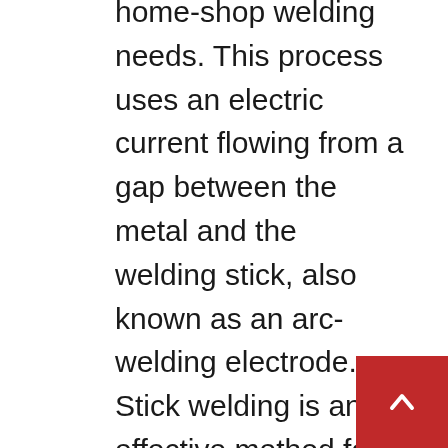home-shop welding needs. This process uses an electric current flowing from a gap between the metal and the welding stick, also known as an arc-welding electrode. Stick welding is an effective method for welding most alloys or joints and can be used indoors and outdoors or in drafty areas. It's also the most economical welding method and provides the ability to create an effective bond on rusty or dirty metals. However, this method is limited to metals no thinner than 18-gauge, requires frequent rod changing, emits significant spatter and requires that welds be cleaned upon completion. Stick welding is also more difficult to learn and use, particularly the ability to strike and maintain an arc. Arc welders are available in AC, DC or AC/DC with AC being the most economical. It's used for welding thicker metals of 1/16 inch or greater.